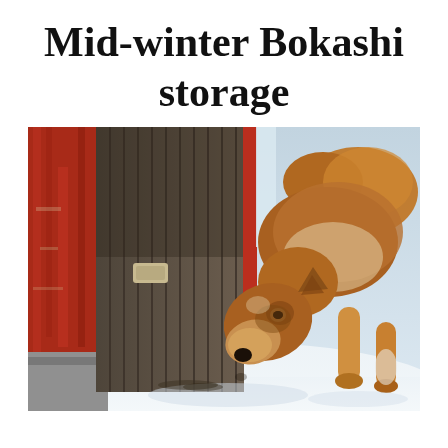Mid-winter Bokashi storage
[Figure (photo): A brown and white husky dog sniffing the ground near a wooden door/shed wall in a snowy winter setting. To the left is a red weathered barn wall with peeling paint and a grey concrete base. The dog is leaning forward with its head down toward the snow-covered ground.]